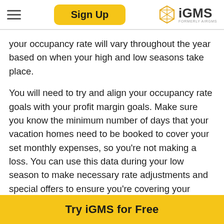Sign Up | iGMS FORMERLY AIRGMS
your occupancy rate will vary throughout the year based on when your high and low seasons take place.
You will need to try and align your occupancy rate goals with your profit margin goals. Make sure you know the minimum number of days that your vacation homes need to be booked to cover your set monthly expenses, so you’re not making a loss. You can use this data during your low season to make necessary rate adjustments and special offers to ensure you’re covering your costs.
Try iGMS for Free